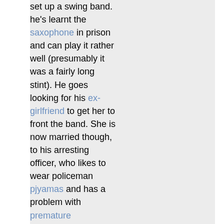set up a swing band. he's learnt the saxophone in prison and can play it rather well (presumably it was a fairly long stint). He goes looking for his ex-girlfriend to get her to front the band. She is now married though, to his arresting officer, who likes to wear policeman pjyamas and has a problem with premature ejaculation. The girlfriend (Joan) decides to help him out anyway, and, of course, gradually realises that she still loves him, and never really loved the policeman at all. Ho hum.
The band gradually assembles - a footballing double-bassist, an ex-fascist-punk drummer and a